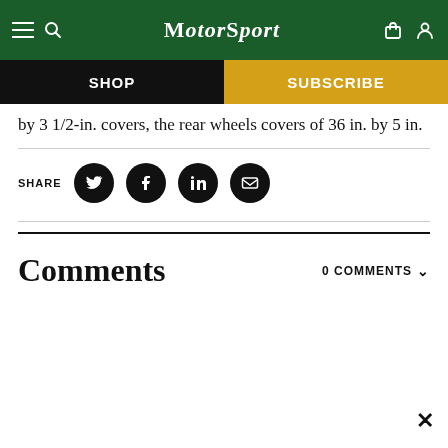MotorSport — SHOP | SUBSCRIBE
by 3 1/2-in. covers, the rear wheels covers of 36 in. by 5 in.
[Figure (infographic): Share buttons row: Twitter, Facebook, LinkedIn, Email icons in black circles, with SHARE label]
Comments
0 COMMENTS